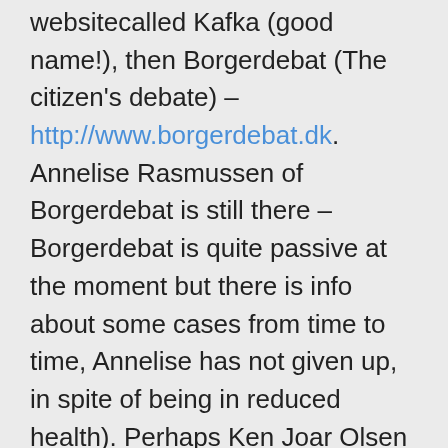websitecalled Kafka (good name!), then Borgerdebat (The citizen's debate) – http://www.borgerdebat.dk. Annelise Rasmussen of Borgerdebat is still there – Borgerdebat is quite passive at the moment but there is info about some cases from time to time, Annelise has not given up, in spite of being in reduced health). Perhaps Ken Joar Olsen should post his story (the one you quote from here, Chris: https://chrisreimersblog.com/2016/05/06/ken-and-vibekes-story-what/) on Borgerdebat, since a lot of Ken's